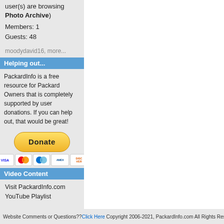user(s) are browsing Photo Archive)
Members: 1
Guests: 48
moodydavid16, more...
Helping out...
PackardInfo is a free resource for Packard Owners that is completely supported by user donations. If you can help out, that would be great!
[Figure (other): PayPal Donate button with credit card icons (Visa, Mastercard, Maestro, Amex, Discover)]
Video Content
Visit PackardInfo.com YouTube Playlist
[Figure (logo): YouTube play button logo (red rounded rectangle with white triangle)]
Website Comments or Questions?? Click Here Copyright 2006-2021, PackardInfo.com All Rights Reserved